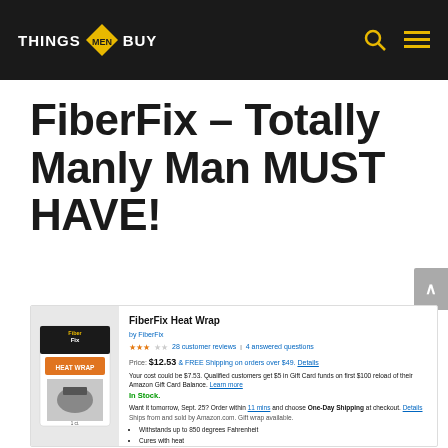THINGS MEN BUY
FiberFix – Totally Manly Man MUST HAVE!
[Figure (screenshot): Amazon product listing for FiberFix Heat Wrap showing product image, star rating, price $12.53, shipping info, In Stock status, delivery options, and bullet point features including 'Withstands up to 850 degrees Fahrenheit', 'Cures with heat', 'Works as a moderate insulator', 'Hardens like Steel', 'Works on any surface']